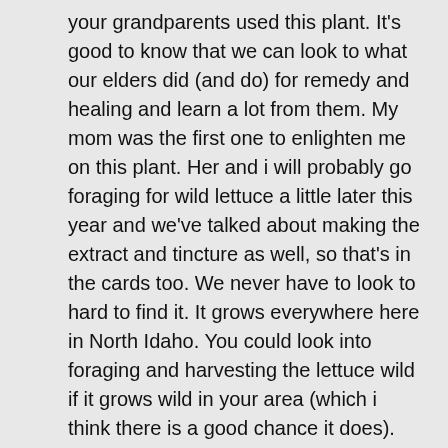your grandparents used this plant. It's good to know that we can look to what our elders did (and do) for remedy and healing and learn a lot from them. My mom was the first one to enlighten me on this plant. Her and i will probably go foraging for wild lettuce a little later this year and we've talked about making the extract and tincture as well, so that's in the cards too. We never have to look to hard to find it. It grows everywhere here in North Idaho. You could look into foraging and harvesting the lettuce wild if it grows wild in your area (which i think there is a good chance it does).
Thank you so much for adding your thoughts and kind words. Grateful so